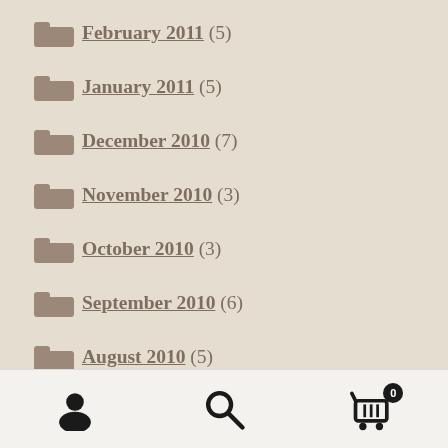February 2011 (5)
January 2011 (5)
December 2010 (7)
November 2010 (3)
October 2010 (3)
September 2010 (6)
August 2010 (5)
July 2010 (5)
June 2010 (12)
May 2010 (7)
April 2010 (8)
March 2010 (6)
February 2010 (8)
Navigation bar with user, search, and cart icons